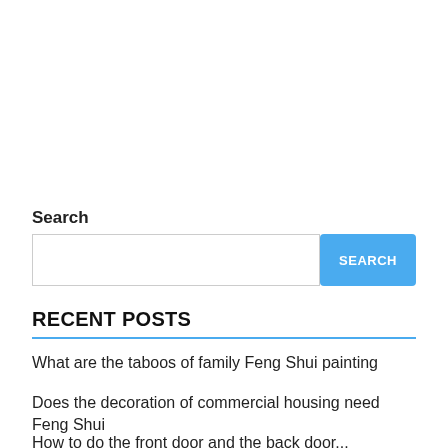Search
SEARCH (button)
RECENT POSTS
What are the taboos of family Feng Shui painting
Does the decoration of commercial housing need Feng Shui
How to do the front door and the back door...